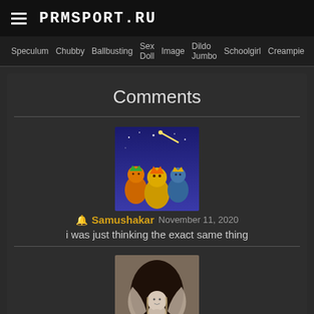PRMSPORT.RU
Speculum  Chubby  Ballbusting  Sex Doll  Image  Dildo Jumbo  Schoolgirl  Creampie
Comments
[Figure (illustration): MSN Messenger-style avatar: three cartoon figures with crowns (green, orange, blue) under a starry blue sky with a shooting star]
🔔 Samushakar  November 11, 2020
i was just thinking the exact same thing
[Figure (photo): An angelic stone sculpture or carving of a figure with wings, praying hands, set within an arched alcove]
🔔 Kell...